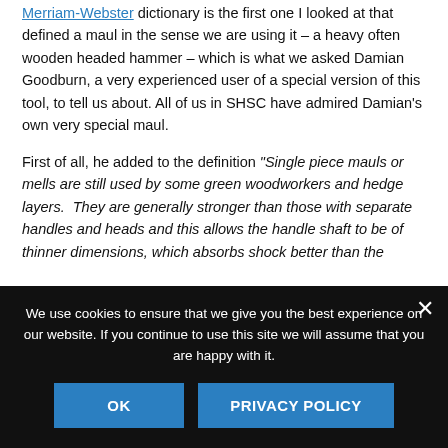Merriam-Webster dictionary is the first one I looked at that defined a maul in the sense we are using it – a heavy often wooden headed hammer – which is what we asked Damian Goodburn, a very experienced user of a special version of this tool, to tell us about. All of us in SHSC have admired Damian's own very special maul.
First of all, he added to the definition "Single piece mauls or mells are still used by some green woodworkers and hedge layers.  They are generally stronger than those with separate handles and heads and this allows the handle shaft to be of thinner dimensions, which absorbs shock better than the"
We use cookies to ensure that we give you the best experience on our website. If you continue to use this site we will assume that you are happy with it.